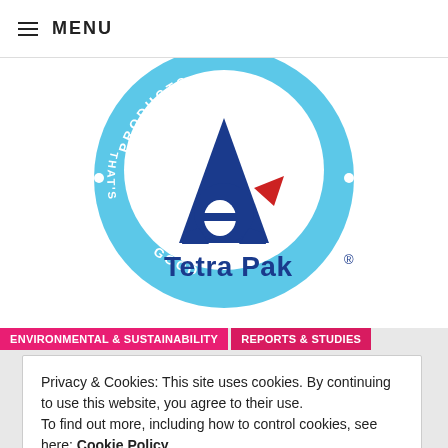≡ MENU
[Figure (logo): Tetra Pak logo inside a circular light blue badge with text 'PRODUCTS THAT'S GOOD' around the rim. The Tetra Pak logo features a blue triangle, blue letter A shape, a red element, and the wordmark 'Tetra Pak®'.]
ENVIRONMENTAL & SUSTAINABILITY   REPORTS & STUDIES
Privacy & Cookies: This site uses cookies. By continuing to use this website, you agree to their use.
To find out more, including how to control cookies, see here: Cookie Policy
Close and accept
— by AXEL BARRETT